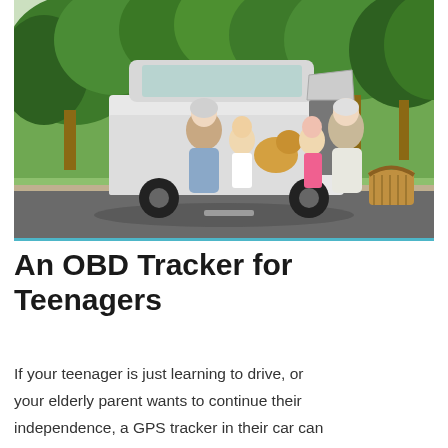[Figure (photo): A family — two elderly adults, two young children, and a golden retriever dog — sitting together in the open trunk/tailgate of a white minivan parked outdoors under large green trees. A wicker picnic basket is visible to the right.]
An OBD Tracker for Teenagers
If your teenager is just learning to drive, or your elderly parent wants to continue their independence, a GPS tracker in their car can be a great way to monitor their safety. You